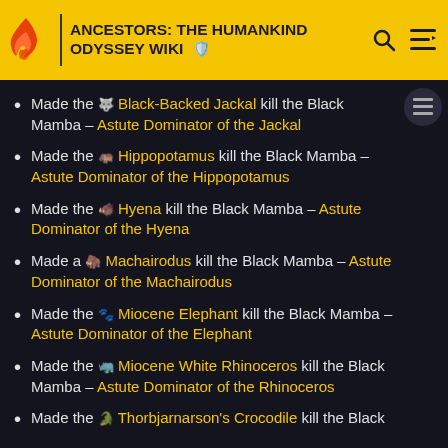ANCESTORS: THE HUMANKIND ODYSSEY WIKI
Made the 🐺 Black-Backed Jackal kill the Black Mamba – Astute Dominator of the Jackal
Made the 🦛 Hippopotamus kill the Black Mamba – Astute Dominator of the Hippopotamus
Made the 🐅 Hyena kill the Black Mamba – Astute Dominator of the Hyena
Made a 🦁 Machairodus kill the Black Mamba – Astute Dominator of the Machairodus
Made the 🐘 Miocene Elephant kill the Black Mamba – Astute Dominator of the Elephant
Made the 🦏 Miocene White Rhinoceros kill the Black Mamba – Astute Dominator of the Rhinoceros
Made the 🐊 Thorbjarnarson's Crocodile kill the Black